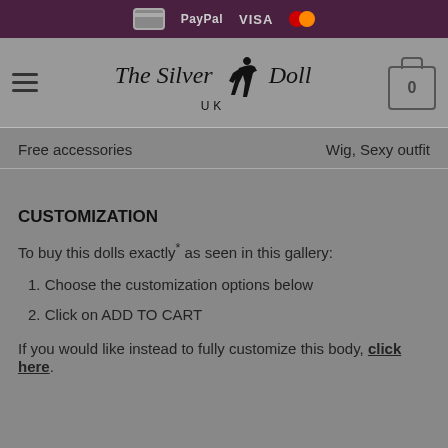Payment icons: card, PayPal, VISA, Mastercard
[Figure (logo): The Silver Doll UK logo with silhouette and cart icon]
| Free accessories | Wig, Sexy outfit |
| --- | --- |
CUSTOMIZATION
To buy this dolls exactly* as seen in this gallery:
1. Choose the customization options below
2. Click on ADD TO CART
If you would like instead to fully customize this body, click here.